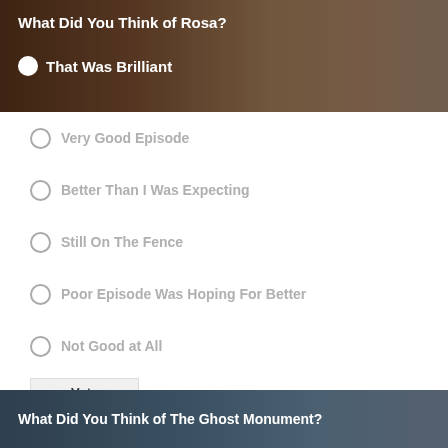[Figure (illustration): Poll widget banner for 'What Did You Think of Rosa?' with brown/sandy background image showing an animal paw or fur, dark overlay. Selected option shown as 'That Was Brilliant' with filled white radio button.]
Very Good Episode
Better Than I Was Expecting
Still On The Fence
Poor Episode Was Hoping For Better
Not Good at All
Terrible Not for Me
[Figure (illustration): Poll widget banner for 'What Did You Think of The Ghost Monument?' with dark slate/teal background image partially visible at bottom.]